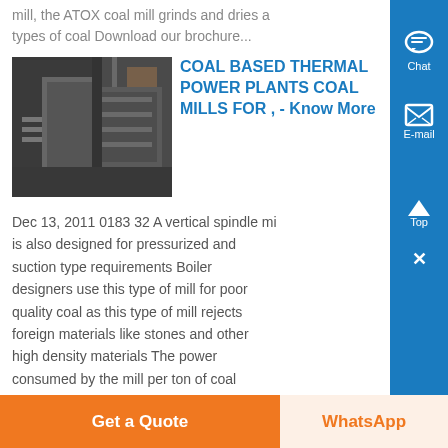mill, the ATOX coal mill grinds and dries a types of coal Download our brochure...
[Figure (photo): Industrial coal mill machinery photograph showing metal components]
COAL BASED THERMAL POWER PLANTS COAL MILLS FOR , - Know More
Dec 13, 2011 0183 32 A vertical spindle mill is also designed for pressurized and suction type requirements Boiler designers use this type of mill for poor quality coal as this type of mill rejects foreign materials like stones and other high density materials The power consumed by the mill per ton of coal ground is only two-thirds of the ball mills
Get a Quote
WhatsApp